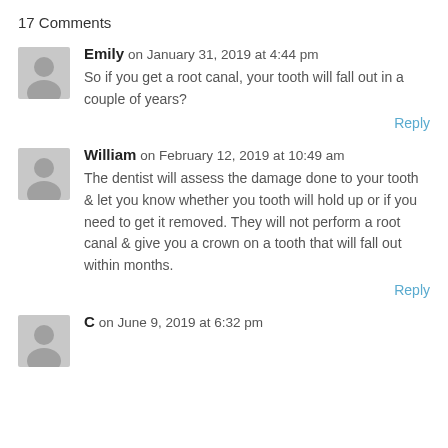17 Comments
Emily on January 31, 2019 at 4:44 pm
So if you get a root canal, your tooth will fall out in a couple of years?
Reply
William on February 12, 2019 at 10:49 am
The dentist will assess the damage done to your tooth & let you know whether you tooth will hold up or if you need to get it removed. They will not perform a root canal & give you a crown on a tooth that will fall out within months.
Reply
C on June 9, 2019 at 6:32 pm